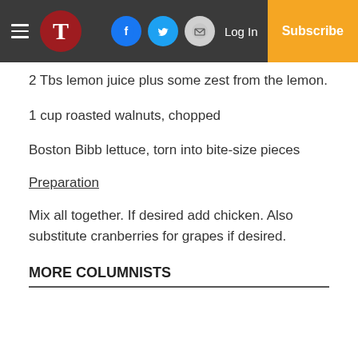T [logo] | Facebook | Twitter | Email | Log In | Subscribe
2 Tbs lemon juice plus some zest from the lemon.
1 cup roasted walnuts, chopped
Boston Bibb lettuce, torn into bite-size pieces
Preparation
Mix all together. If desired add chicken. Also substitute cranberries for grapes if desired.
MORE COLUMNISTS